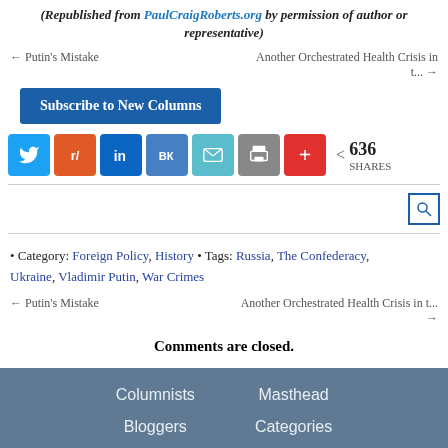(Republished from PaulCraigRoberts.org by permission of author or representative)
← Putin's Mistake    Another Orchestrated Health Crisis in t... →
[Figure (screenshot): Subscribe to New Columns button and social share buttons (Twitter, Reddit, LinkedIn, VK, Email, Print, Plus) with 636 SHARES count]
• Category: Foreign Policy, History • Tags: Russia, The Confederacy, Ukraine, Vladimir Putin, War Crimes
← Putin's Mistake    Another Orchestrated Health Crisis in t... →
Comments are closed.
Columnists  Masthead  Bloggers  Categories